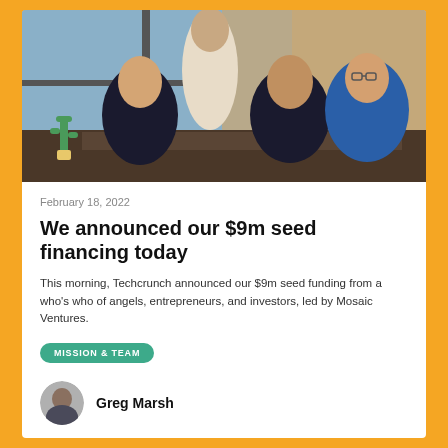[Figure (photo): Four men sitting and standing around a dark wooden table in an office with exposed brick walls and large windows. A green cactus decoration is visible on the left.]
February 18, 2022
We announced our $9m seed financing today
This morning, Techcrunch announced our $9m seed funding from a who's who of angels, entrepreneurs, and investors, led by Mosaic Ventures.
MISSION & TEAM
[Figure (photo): Circular avatar photo of Greg Marsh]
Greg Marsh